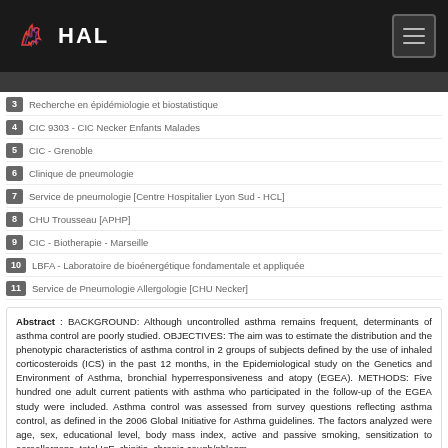HAL
3  Recherche en épidémiologie et biostatistique
4  CIC 9303 - CIC Necker Enfants Malades
5  CIC - Grenoble
6  Clinique de pneumologie
7  Service de pneumologie [Centre Hospitalier Lyon Sud - HCL]
8  CHU Trousseau [APHP]
9  CIC - Biotherapie - Marseille
10  LBFA - Laboratoire de bioénergétique fondamentale et appliquée
11  Service de Pneumologie Allergologie [CHU Necker]
Abstract : BACKGROUND: Although uncontrolled asthma remains frequent, determinants of asthma control are poorly studied. OBJECTIVES: The aim was to estimate the distribution and the phenotypic characteristics of asthma control in 2 groups of subjects defined by the use of inhaled corticosteroids (ICS) in the past 12 months, in the Epidemiological study on the Genetics and Environment of Asthma, bronchial hyperresponsiveness and atopy (EGEA). METHODS: Five hundred one adult current patients with asthma who participated in the follow-up of the EGEA study were included. Asthma control was assessed from survey questions reflecting asthma control, as defined in the 2006 Global Initiative for Asthma guidelines. The factors analyzed were age, sex, educational level, body mass index, active and passive smoking, sensitization to aeroallergens, total IgE, rhinitis, chronic cough/phlegm